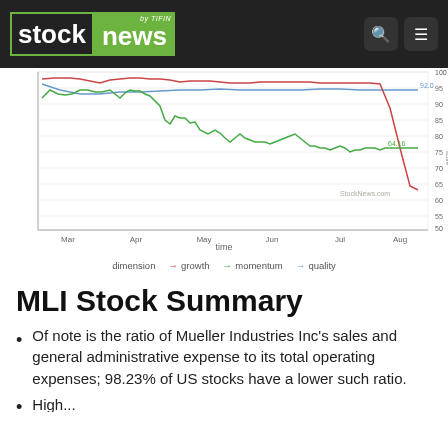stock news by TIFIN
[Figure (line-chart): Line chart showing growth, momentum, and quality dimensions for MLI stock from March to August. Growth (red) starts high ~97 and drops sharply in Aug to ~39. Momentum (green) is volatile, declining from ~85 to ~64. Quality (blue) stays relatively flat near 92.]
dimension → growth → momentum → quality
MLI Stock Summary
Of note is the ratio of Mueller Industries Inc's sales and general administrative expense to its total operating expenses; 98.23% of US stocks have a lower such ratio.
High...